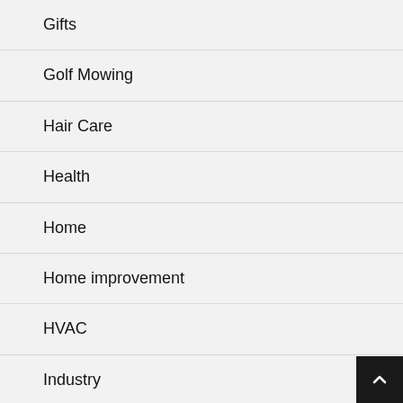Gifts
Golf Mowing
Hair Care
Health
Home
Home improvement
HVAC
Industry
Insurance
Kids